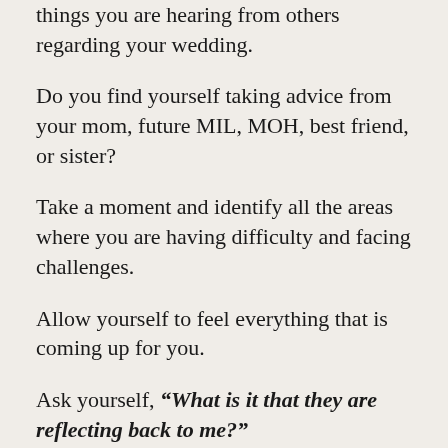things you are hearing from others regarding your wedding.
Do you find yourself taking advice from your mom, future MIL, MOH, best friend, or sister?
Take a moment and identify all the areas where you are having difficulty and facing challenges.
Allow yourself to feel everything that is coming up for you.
Ask yourself, “What is it that they are reflecting back to me?”
Something that can be difficult to hear is that